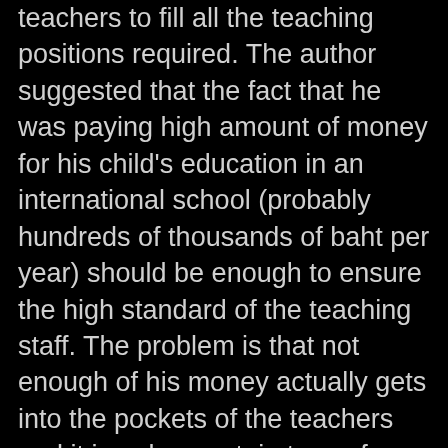teachers to fill all the teaching positions required. The author suggested that the fact that he was paying high amount of money for his child's education in an international school (probably hundreds of thousands of baht per year) should be enough to ensure the high standard of the teaching staff. The problem is that not enough of his money actually gets into the pockets of the teachers and it is only a certain type of teacher who will be attracted to leaving the West and going to Thailand to teach for such meager pay rates.
At the end of the day the most important thing is how good the teacher is and there is nothing to say that sexpats do not make excellent teachers. There is also nothing to say that sexpats are automatically